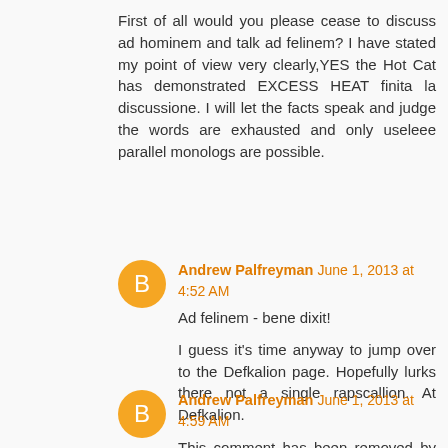First of all would you please cease to discuss ad hominem and talk ad felinem? I have stated my point of view very clearly,YES the Hot Cat has demonstrated EXCESS HEAT finita la discussione. I will let the facts speak and judge the words are exhausted and only useleee parallel monologs are possible.
Andrew Palfreyman  June 1, 2013 at 4:52 AM
Ad felinem - bene dixit!
I guess it's time anyway to jump over to the Defkalion page. Hopefully lurks there not a single rapscallion. At Defkalion.
Andrew Palfreyman  June 1, 2013 at 4:59 AM
This comment has been removed by the author.